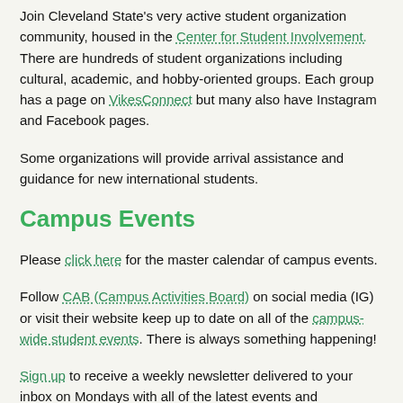Join Cleveland State's very active student organization community, housed in the Center for Student Involvement. There are hundreds of student organizations including cultural, academic, and hobby-oriented groups. Each group has a page on VikesConnect but many also have Instagram and Facebook pages.
Some organizations will provide arrival assistance and guidance for new international students.
Campus Events
Please click here for the master calendar of campus events.
Follow CAB (Campus Activities Board) on social media (IG) or visit their website keep up to date on all of the campus-wide student events. There is always something happening!
Sign up to receive a weekly newsletter delivered to your inbox on Mondays with all of the latest events and announcements from the